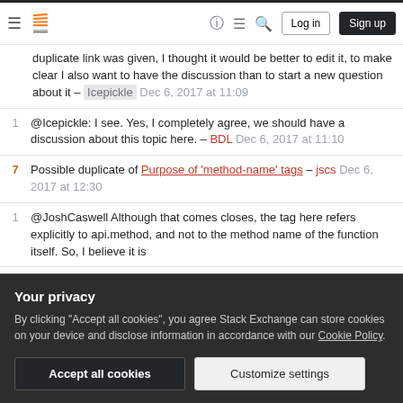Stack Exchange navigation bar with Log in and Sign up buttons
duplicate link was given, I thought it would be better to edit it, to make clear I also want to have the discussion than to start a new question about it – Icepickle Dec 6, 2017 at 11:09
1 @Icepickle: I see. Yes, I completely agree, we should have a discussion about this topic here. – BDL Dec 6, 2017 at 11:10
7 Possible duplicate of Purpose of 'method-name' tags – jscs Dec 6, 2017 at 12:30
1 @JoshCaswell Although that comes closes, the tag here refers explicitly to api.method, and not to the method name of the function itself. So, I believe it is
Your privacy
By clicking "Accept all cookies", you agree Stack Exchange can store cookies on your device and disclose information in accordance with our Cookie Policy.
Accept all cookies
Customize settings